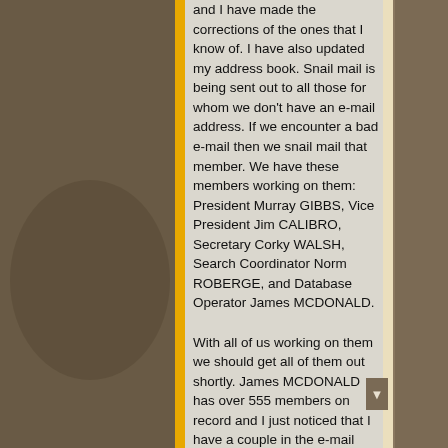and I have made the corrections of the ones that I know of. I have also updated my address book. Snail mail is being sent out to all those for whom we don't have an e-mail address. If we encounter a bad e-mail then we snail mail that member. We have these members working on them: President Murray GIBBS, Vice President Jim CALIBRO, Secretary Corky WALSH, Search Coordinator Norm ROBERGE, and Database Operator James MCDONALD.

With all of us working on them we should get all of them out shortly. James MCDONALD has over 555 members on record and I just noticed that I have a couple in the e-mail